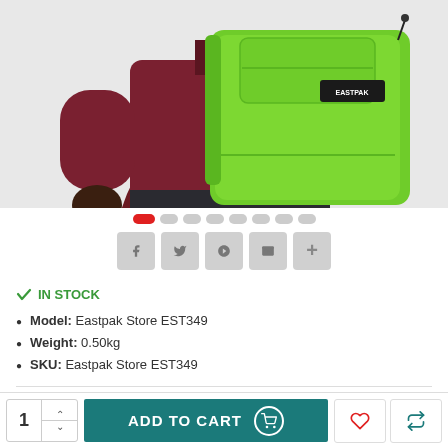[Figure (photo): Person wearing a bright green Eastpak backpack, dressed in a dark red/maroon hoodie and dark jeans, shown from behind/side, against a white background.]
IN STOCK
Model: Eastpak Store EST349
Weight: 0.50kg
SKU: Eastpak Store EST349
£45.00